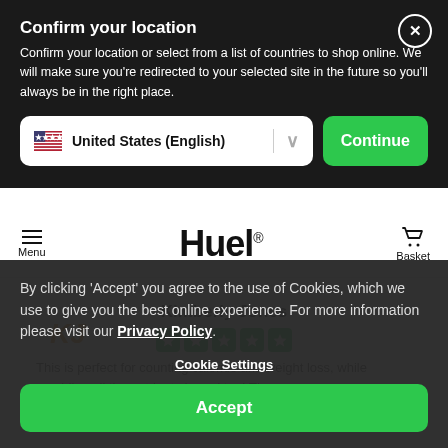Confirm your location
Confirm your location or select from a list of countries to shop online. We will make sure you're redirected to your selected site in the future so you'll always be in the right place.
United States (English)
Continue
Menu
Huel®
Basket
Kimberly Jones
By clicking 'Accept' you agree to the use of Cookies, which we use to give you the best online experience. For more information please visit our Privacy Policy.
Cookie Settings
Accept